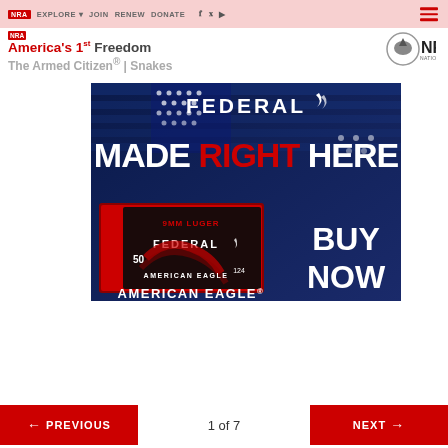NRA EXPLORE ▾  JOIN  RENEW  DONATE
NRA America's 1st Freedom
The Armed Citizen® | Snakes
[Figure (advertisement): Federal Ammunition advertisement: 'MADE RIGHT HERE' with 9mm Luger American Eagle box, BUY NOW call to action, on dark blue American flag background]
← PREVIOUS   1 of 7   NEXT →